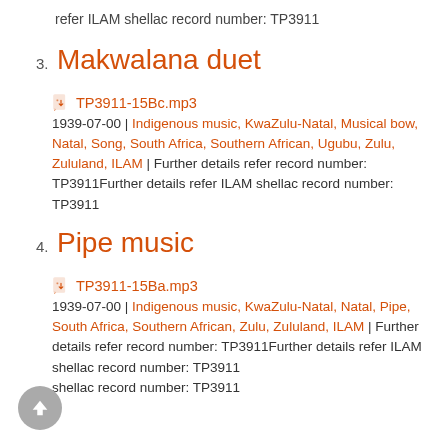refer ILAM shellac record number: TP3911
3. Makwalana duet
TP3911-15Bc.mp3
1939-07-00 | Indigenous music, KwaZulu-Natal, Musical bow, Natal, Song, South Africa, Southern African, Ugubu, Zulu, Zululand, ILAM | Further details refer record number: TP3911Further details refer ILAM shellac record number: TP3911
4. Pipe music
TP3911-15Ba.mp3
1939-07-00 | Indigenous music, KwaZulu-Natal, Natal, Pipe, South Africa, Southern African, Zulu, Zululand, ILAM | Further details refer record number: TP3911Further details refer ILAM shellac record number: TP3911